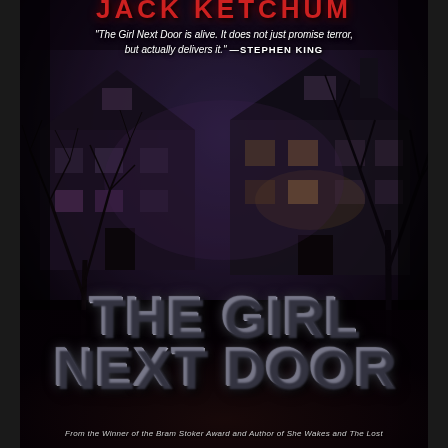[Figure (illustration): Book cover for 'The Girl Next Door' by Jack Ketchum. Dark horror novel cover featuring a haunting image of a suburban house at night with bare trees against a dark purple/blue sky. The house has lit windows. The scene is ominous and atmospheric.]
"The Girl Next Door is alive. It does not just promise terror, but actually delivers it." —Stephen King
THE GIRL NEXT DOOR
From the Winner of the Bram Stoker Award and Author of She Wakes and The Lost